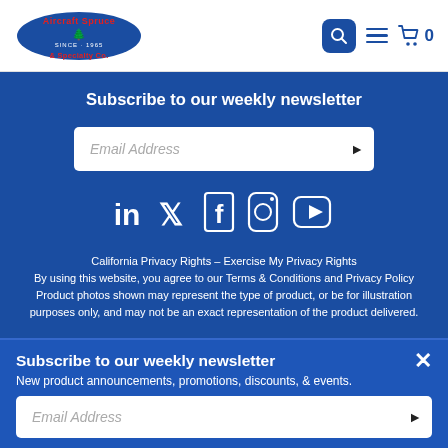Aircraft Spruce & Specialty Co. — navigation header with logo, search, menu, and cart
Subscribe to our weekly newsletter
Email Address (input field with submit arrow)
[Figure (infographic): Social media icons: LinkedIn, Twitter, Facebook, Instagram, YouTube]
California Privacy Rights – Exercise My Privacy Rights
By using this website, you agree to our Terms & Conditions and Privacy Policy
Product photos shown may represent the type of product, or be for illustration purposes only, and may not be an exact representation of the product delivered.
Subscribe to our weekly newsletter
New product announcements, promotions, discounts, & events.
Email Address (popup input field with submit arrow)